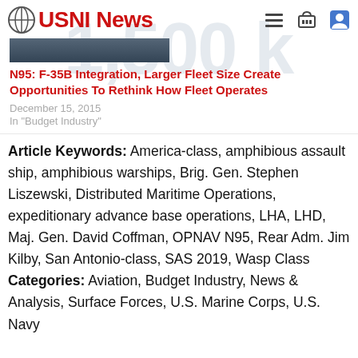USNI News
[Figure (illustration): Dark blue/grey rectangular image bar representing an article thumbnail]
N95: F-35B Integration, Larger Fleet Size Create Opportunities To Rethink How Fleet Operates
December 15, 2015
In "Budget Industry"
Article Keywords: America-class, amphibious assault ship, amphibious warships, Brig. Gen. Stephen Liszewski, Distributed Maritime Operations, expeditionary advance base operations, LHA, LHD, Maj. Gen. David Coffman, OPNAV N95, Rear Adm. Jim Kilby, San Antonio-class, SAS 2019, Wasp Class
Categories: Aviation, Budget Industry, News & Analysis, Surface Forces, U.S. Marine Corps, U.S. Navy